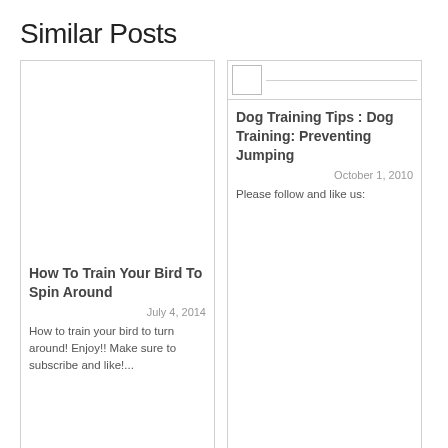Similar Posts
[Figure (other): Blank white image placeholder for bird training post card]
How To Train Your Bird To Spin Around
July 4, 2014
How to train your bird to turn around! Enjoy!! Make sure to subscribe and like!...
[Figure (other): Thumbnail placeholder box with border, second card for dog training post]
Dog Training Tips : Dog Training: Preventing Jumping
October 1, 2010
Please follow and like us: